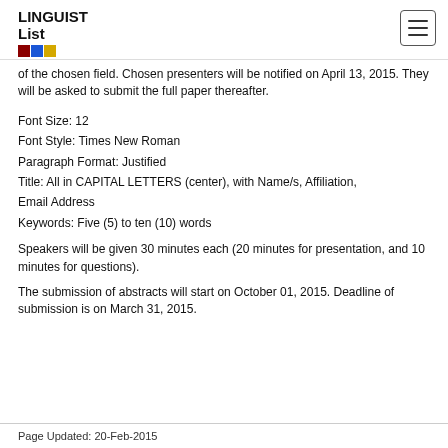LINGUIST List
of the chosen field. Chosen presenters will be notified on April 13, 2015. They will be asked to submit the full paper thereafter.
Font Size: 12
Font Style: Times New Roman
Paragraph Format: Justified
Title: All in CAPITAL LETTERS (center), with Name/s, Affiliation, Email Address
Keywords: Five (5) to ten (10) words
Speakers will be given 30 minutes each (20 minutes for presentation, and 10 minutes for questions).
The submission of abstracts will start on October 01, 2015. Deadline of submission is on March 31, 2015.
Page Updated: 20-Feb-2015